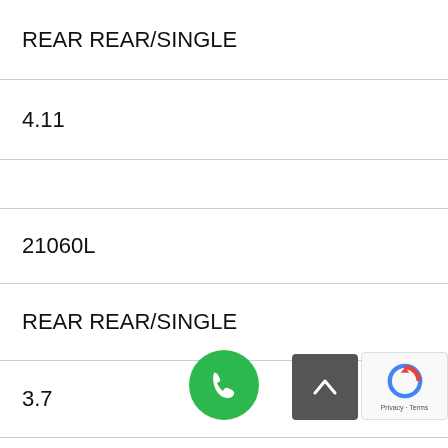| REAR REAR/SINGLE |
| 4.11 |
|  |
| 21060L |
| REAR REAR/SINGLE |
| 3.7 |
|  |
| 21060S |